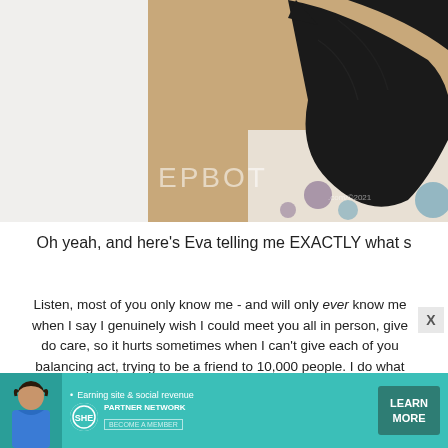[Figure (photo): Photo of a black cat on a polka-dot surface with an EPBOT watermark, partially cropped on the right side]
Oh yeah, and here's Eva telling me EXACTLY what s
Listen, most of you only know me - and will only ever know me - when I say I genuinely wish I could meet you all in person, give do care, so it hurts sometimes when I can't give each of you balancing act, trying to be a friend to 10,000 people. I do what but overall I know I'
[Figure (infographic): SHE Partner Network advertisement banner — teal background with woman photo, tagline 'Earning site & social revenue', SHE logo, PARTNER NETWORK text, BECOME A MEMBER, and LEARN MORE button]